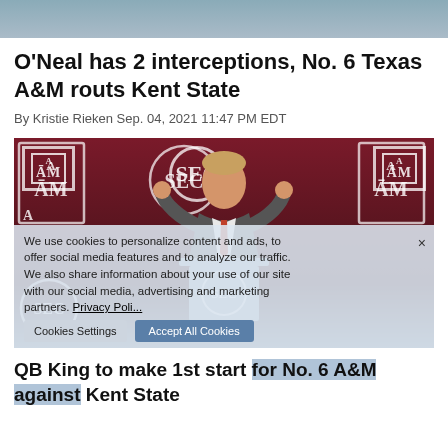[Figure (photo): Partial top image strip, cropped photo background]
O'Neal has 2 interceptions, No. 6 Texas A&M routs Kent State
By Kristie Rieken Sep. 04, 2021 11:47 PM EDT
[Figure (photo): Texas A&M coach speaking at a podium with SEC and ATM logos in background. A cookie consent overlay is visible partially obscuring the image.]
QB King to make 1st start for No. 6 A&M against Kent State